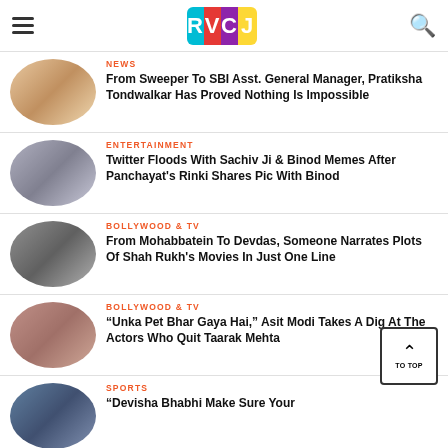RVCJ
NEWS — From Sweeper To SBI Asst. General Manager, Pratiksha Tondwalkar Has Proved Nothing Is Impossible
ENTERTAINMENT — Twitter Floods With Sachiv Ji & Binod Memes After Panchayat's Rinki Shares Pic With Binod
BOLLYWOOD & TV — From Mohabbatein To Devdas, Someone Narrates Plots Of Shah Rukh's Movies In Just One Line
BOLLYWOOD & TV — "Unka Pet Bhar Gaya Hai," Asit Modi Takes A Dig At The Actors Who Quit Taarak Mehta
SPORTS — "Devisha Bhabhi Make Sure Your